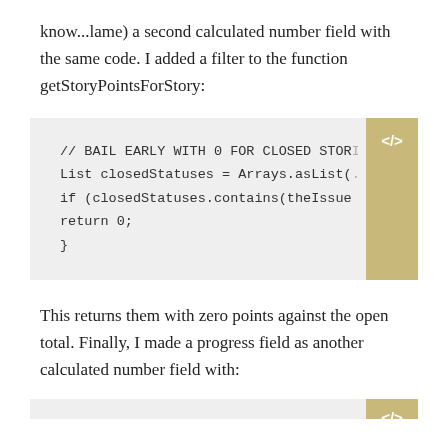know...lame) a second calculated number field with the same code. I added a filter to the function getStoryPointsForStory:
// BAIL EARLY WITH 0 FOR CLOSED STORI
List closedStatuses = Arrays.asList(.
if (closedStatuses.contains(theIssue
return 0;
}
This returns them with zero points against the open total. Finally, I made a progress field as another calculated number field with: